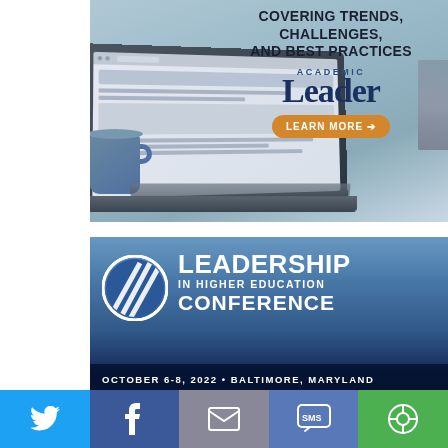[Figure (illustration): Academic Leader advertisement banner showing a laptop computer with coffee cup, text reading 'Covering Trends, Challenges, and Best Practices' with 'Academic Leader' branding and an orange 'Learn More' button]
[Figure (illustration): Leadership in Higher Education Conference advertisement with blue gradient background, circular striped logo, conference name text, and date/location 'October 6-8, 2022 • Baltimore, Maryland']
[Figure (infographic): Social media sharing bar with five buttons: Twitter (blue), Facebook (dark blue), Email (gray), SMS (medium blue), and Share/copy (green)]